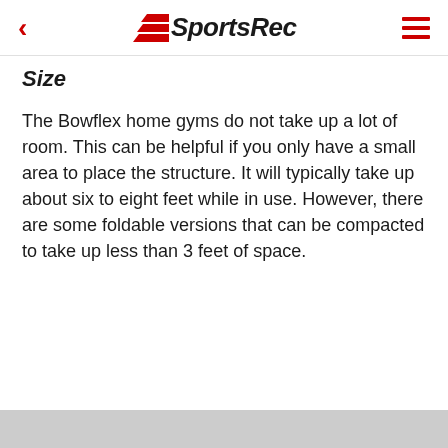SportsRec
Size
The Bowflex home gyms do not take up a lot of room. This can be helpful if you only have a small area to place the structure. It will typically take up about six to eight feet while in use. However, there are some foldable versions that can be compacted to take up less than 3 feet of space.